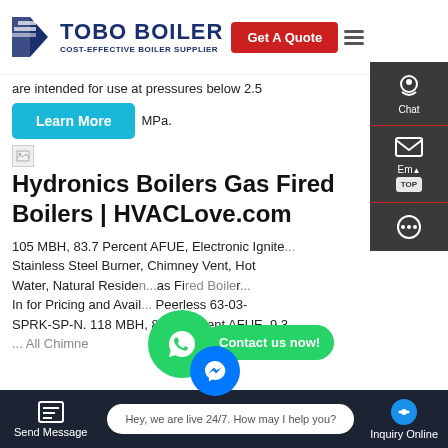TOBO BOILER — COST-EFFECTIVE BOILER SUPPLIER | Get A Quote
are intended for use at pressures below 2.5 MPa.
[Figure (screenshot): Learn More button (cyan/teal)]
[Figure (screenshot): Broken image placeholder icon]
Hydronics Boilers Gas Fired Boilers | HVACLove.com
105 MBH, 83.7 Percent AFUE, Electronic Ignite... Stainless Steel Burner, Chimney Vent, Hot Water, Natural Resider... as Fired Boiler... In for Pricing and Avail... Peerless 63-03-SPRK-SP-N. 118 MBH, 82.6 Percent AFUE, 9.3 ... All Chimney... Cast... Fire...
[Figure (screenshot): WhatsApp green chat icon overlay]
[Figure (screenshot): Contact us now! green bubble overlay]
Send Message | Hey, we are live 24/7. How may I help you? | Inquiry Online